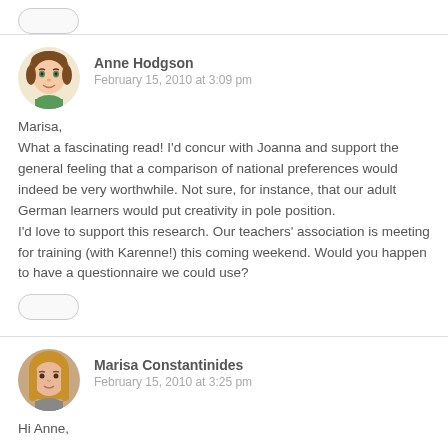[Figure (other): Top partial grey bar / button element at top of page]
Anne Hodgson
February 15, 2010 at 3:09 pm
Marisa,
What a fascinating read! I'd concur with Joanna and support the general feeling that a comparison of national preferences would indeed be very worthwhile. Not sure, for instance, that our adult German learners would put creativity in pole position.
I'd love to support this research. Our teachers' association is meeting for training (with Karenne!) this coming weekend. Would you happen to have a questionnaire we could use?
Marisa Constantinides
February 15, 2010 at 3:25 pm
Hi Anne,